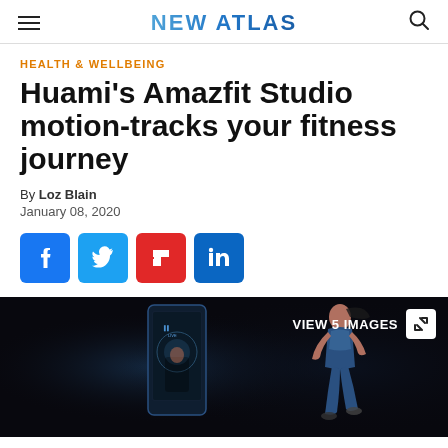NEW ATLAS
HEALTH & WELLBEING
Huami's Amazfit Studio motion-tracks your fitness journey
By Loz Blain
January 08, 2020
[Figure (screenshot): Social sharing buttons: Facebook, Twitter, Flipboard, LinkedIn]
[Figure (photo): Dark background photo showing a smartphone device and a woman running in athletic wear. Overlay reads VIEW 5 IMAGES with an expand icon.]